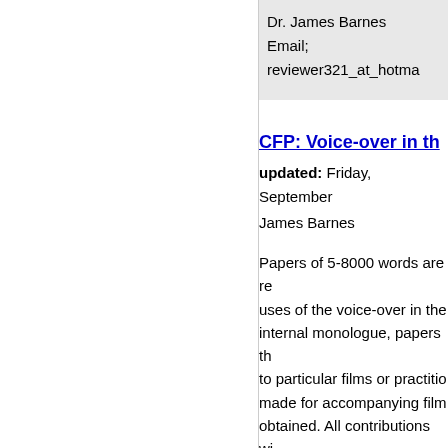Dr. James Barnes
Email; reviewer321_at_hotma
CFP: Voice-over in th
updated: Friday, September
James Barnes
Papers of 5-8000 words are re uses of the voice-over in the internal monologue, papers th to particular films or practitio made for accompanying film obtained. All contributions wi send manuscripts to;
Dr. James Barnes
Email; reviewer321_at_hotma